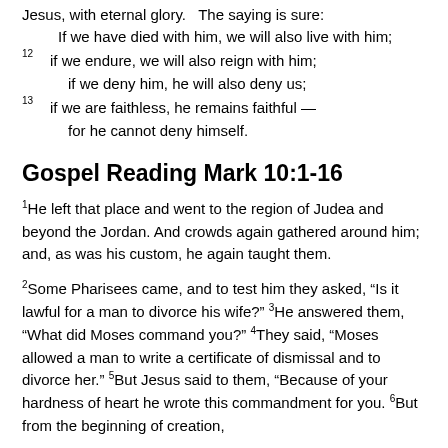Jesus, with eternal glory.   The saying is sure:
    If we have died with him, we will also live with him;
12  if we endure, we will also reign with him;
    if we deny him, he will also deny us;
13  if we are faithless, he remains faithful —
    for he cannot deny himself.
Gospel Reading Mark 10:1-16
1He left that place and went to the region of Judea and beyond the Jordan. And crowds again gathered around him; and, as was his custom, he again taught them.
2Some Pharisees came, and to test him they asked, “Is it lawful for a man to divorce his wife?” 3He answered them, “What did Moses command you?” 4They said, “Moses allowed a man to write a certificate of dismissal and to divorce her.” 5But Jesus said to them, “Because of your hardness of heart he wrote this commandment for you. 6But from the beginning of creation,